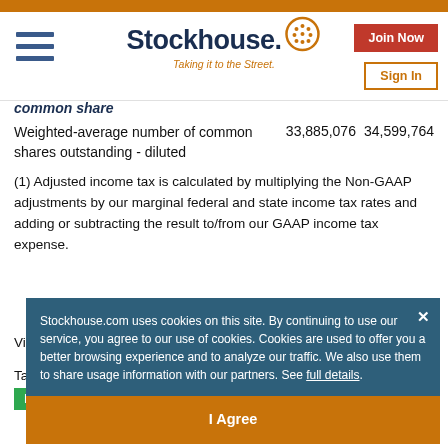Stockhouse - Taking it to the Street.
|  | Col1 | Col2 |
| --- | --- | --- |
| common share (partial) |  |  |
| Weighted-average number of common shares outstanding - diluted | 33,885,076 | 34,599,764 |
(1) Adjusted income tax is calculated by multiplying the Non-GAAP adjustments by our marginal federal and state income tax rates and adding or subtracting the result to/from our GAAP income tax expense.
Vi... ht... /
Ta...
Stockhouse.com uses cookies on this site. By continuing to use our service, you agree to our use of cookies. Cookies are used to offer you a better browsing experience and to analyze our traffic. We also use them to share usage information with our partners. See full details.
I Agree